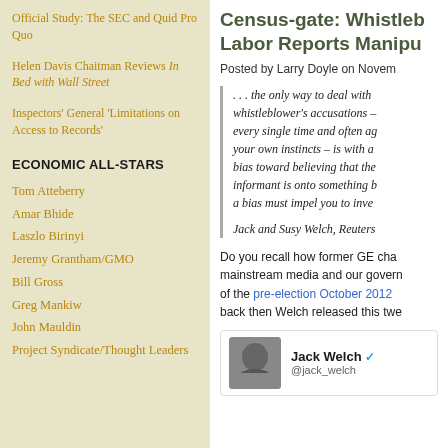Official Study: The SEC and Quid Pro Quo
Helen Davis Chaitman Reviews In Bed with Wall Street
Inspectors' General 'Limitations on Access to Records'
ECONOMIC ALL-STARS
Tom Atteberry
Amar Bhide
Laszlo Birinyi
Jeremy Grantham/GMO
Bill Gross
Greg Mankiw
John Mauldin
Project Syndicate/Thought Leaders
Census-gate: Whistleb... Labor Reports Manipu...
Posted by Larry Doyle on Novem...
. . . the only way to deal with... whistleblower's accusations – every single time and often ag... your own instincts – is with a... bias toward believing that the... informant is onto something b... a bias must impel you to inve...
Jack and Susy Welch, Reuters...
Do you recall how former GE cha... mainstream media and our govern... of the pre-election October 2012... back then Welch released this twe...
[Figure (screenshot): Tweet from Jack Welch with verified badge and handle @jack_welch]